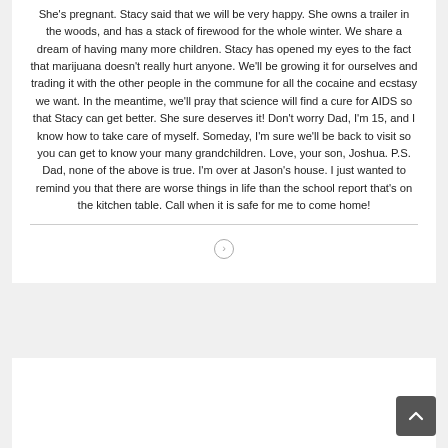She's pregnant. Stacy said that we will be very happy. She owns a trailer in the woods, and has a stack of firewood for the whole winter. We share a dream of having many more children. Stacy has opened my eyes to the fact that marijuana doesn't really hurt anyone. We'll be growing it for ourselves and trading it with the other people in the commune for all the cocaine and ecstasy we want. In the meantime, we'll pray that science will find a cure for AIDS so that Stacy can get better. She sure deserves it! Don't worry Dad, I'm 15, and I know how to take care of myself. Someday, I'm sure we'll be back to visit so you can get to know your many grandchildren. Love, your son, Joshua. P.S. Dad, none of the above is true. I'm over at Jason's house. I just wanted to remind you that there are worse things in life than the school report that's on the kitchen table. Call when it is safe for me to come home!